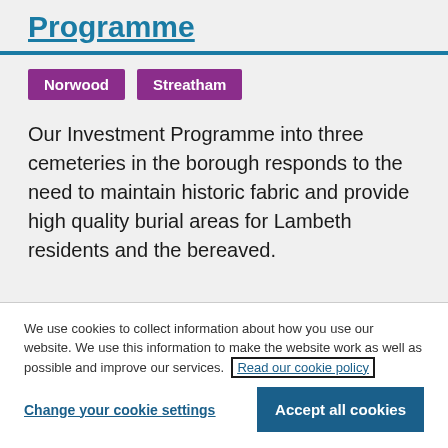Programme
Norwood
Streatham
Our Investment Programme into three cemeteries in the borough responds to the need to maintain historic fabric and provide high quality burial areas for Lambeth residents and the bereaved.
We use cookies to collect information about how you use our website. We use this information to make the website work as well as possible and improve our services. Read our cookie policy
Change your cookie settings
Accept all cookies